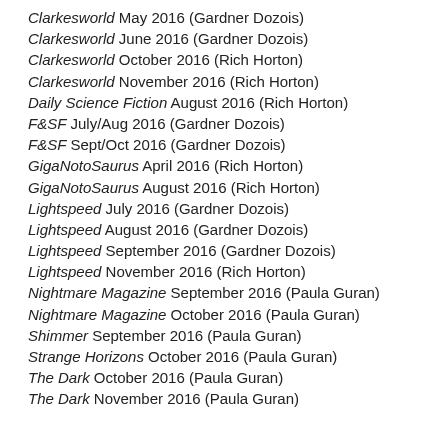Clarkesworld May 2016 (Gardner Dozois)
Clarkesworld June 2016 (Gardner Dozois)
Clarkesworld October 2016 (Rich Horton)
Clarkesworld November 2016 (Rich Horton)
Daily Science Fiction August 2016 (Rich Horton)
F&SF July/Aug 2016 (Gardner Dozois)
F&SF Sept/Oct 2016 (Gardner Dozois)
GigaNotoSaurus April 2016 (Rich Horton)
GigaNotoSaurus August 2016 (Rich Horton)
Lightspeed July 2016 (Gardner Dozois)
Lightspeed August 2016 (Gardner Dozois)
Lightspeed September 2016 (Gardner Dozois)
Lightspeed November 2016 (Rich Horton)
Nightmare Magazine September 2016 (Paula Guran)
Nightmare Magazine October 2016 (Paula Guran)
Shimmer September 2016 (Paula Guran)
Strange Horizons October 2016 (Paula Guran)
The Dark October 2016 (Paula Guran)
The Dark November 2016 (Paula Guran)